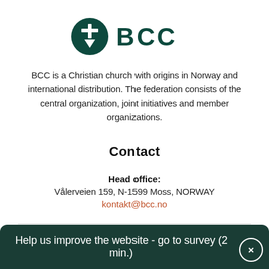[Figure (logo): BCC logo: dark teal circle with white cross/person icon, followed by bold 'BCC' text in dark teal]
BCC is a Christian church with origins in Norway and international distribution. The federation consists of the central organization, joint initiatives and member organizations.
Contact
Head office:
Vålerveien 159, N-1599 Moss, NORWAY
kontakt@bcc.no
[Figure (illustration): Facebook and Instagram social media icons (dark teal circles with white icons)]
Privacy policy
Help us improve the website - go to survey (2 min.)